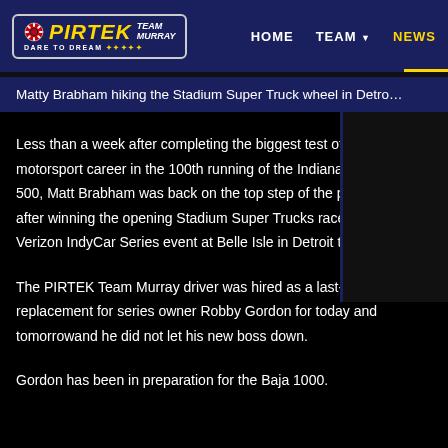PIRTEK TEAM MURRAY — HOME | TEAM | NEWS
Matty Brabham hiking the Stadium Super Truck wheel in Detroit
Less than a week after completing the biggest test of his motorsport career in the 100th running of the Indianapolis 500, Matt Brabham was back on the top step of the podium after winning the opening Stadium Super Trucks race at the Verizon IndyCar Series event at Belle Isle in Detroit today.
The PIRTEK Team Murray driver was hired as a last-minute replacement for series owner Robby Gordon for today and tomorrowand he did not let his new boss down.
Gordon has been in preparation for the Baja 1000.